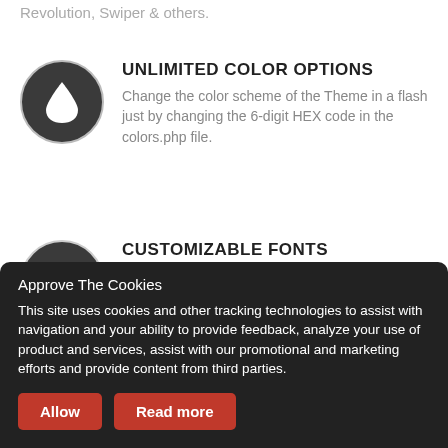Revolution, Swiper & others.
UNLIMITED COLOR OPTIONS
Change the color scheme of the Theme in a flash just by changing the 6-digit HEX code in the colors.php file.
CUSTOMIZABLE FONTS
Use any Font you like from Google Web Fonts, Typekit or other Web Fonts. They will blend in perfectly.
Approve The Cookies
This site uses cookies and other tracking technologies to assist with navigation and your ability to provide feedback, analyze your use of product and services, assist with our promotional and marketing efforts and provide content from third parties.
Allow
Read more